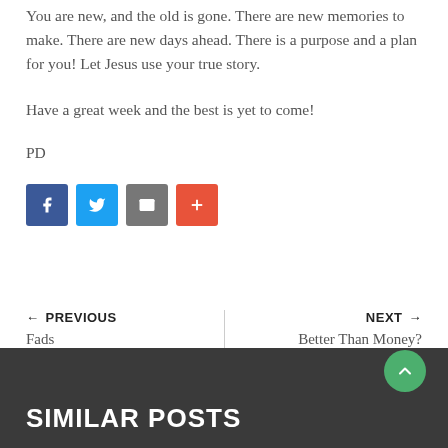You are new, and the old is gone. There are new memories to make. There are new days ahead. There is a purpose and a plan for you! Let Jesus use your true story.
Have a great week and the best is yet to come!
PD
[Figure (infographic): Four social share buttons: Facebook (blue), Twitter (light blue), Email (gray), More/Plus (orange-red)]
← PREVIOUS
Fads
NEXT →
Better Than Money?
SIMILAR POSTS